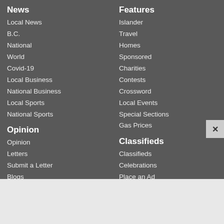News
Local News
B.C.
National
World
Covid-19
Local Business
National Business
Local Sports
National Sports
Opinion
Opinion
Letters
Submit a Letter
Blogs
Events
Life & Arts
Life
Entertainment
Features
Islander
Travel
Homes
Sponsored
Charities
Contests
Crossword
Local Events
Special Sections
Gas Prices
Classifieds
Classifieds
Celebrations
Place an Ad
Now Hiring
Obituaries
View Obituaries
Place an Obituary